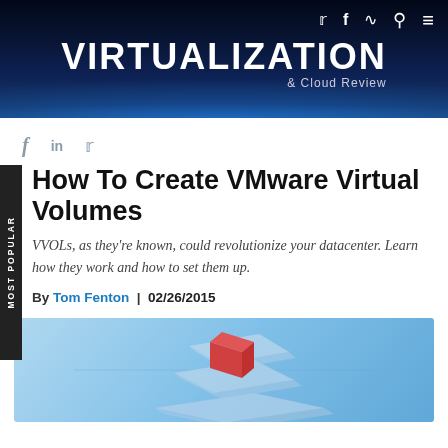ViRTUALiZATiON & Cloud Review
f in twitter
How To Create VMware Virtual Volumes
VVOLs, as they're known, could revolutionize your datacenter. Learn how they work and how to set them up.
By Tom Fenton | 02/26/2015
[Figure (illustration): Isometric illustration of a red cube and gray/blue geometric shapes on a light blue background, representing virtual volumes concept]